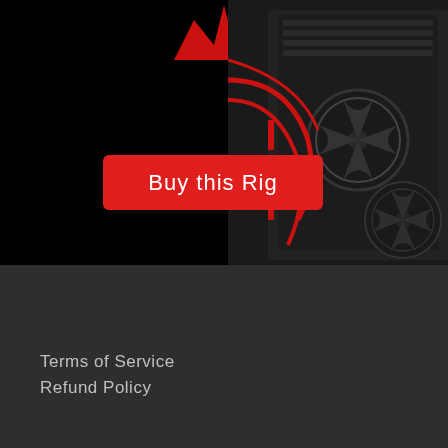[Figure (photo): Black background with a red logo/icon at top center and a dark PC computer rig with red fans and cables visible on the right side]
Buy this Rig
Quick Links
Terms of Service
Refund Policy